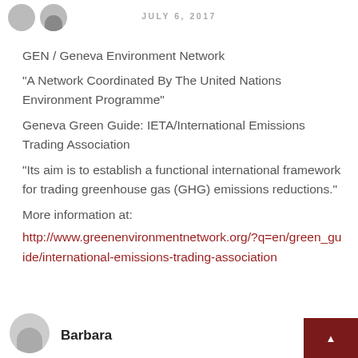JULY 6, 2017
GEN / Geneva Environment Network
“A Network Coordinated By The United Nations Environment Programme”
Geneva Green Guide: IETA/International Emissions Trading Association
“Its aim is to establish a functional international framework for trading greenhouse gas (GHG) emissions reductions.”
More information at:
http://www.greenenvironmentnetwork.org/?q=en/green_guide/international-emissions-trading-association
Barbara